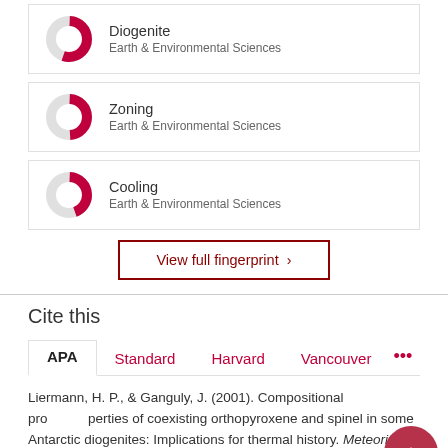[Figure (donut-chart): Donut chart with red arc showing partial fill, labeled Diogenite, Earth & Environmental Sciences]
[Figure (donut-chart): Donut chart with red arc showing partial fill, labeled Zoning, Earth & Environmental Sciences]
[Figure (donut-chart): Donut chart with red arc showing partial fill, labeled Cooling, Earth & Environmental Sciences]
View full fingerprint >
Cite this
APA Standard Harvard Vancouver ...
Liermann, H. P., & Ganguly, J. (2001). Compositional properties of coexisting orthopyroxene and spinel in some Antarctic diogenites: Implications for thermal history. Meteoritics and